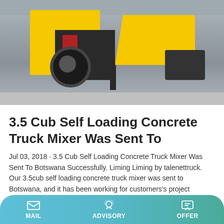[Figure (photo): Yellow concrete mixer truck / self-loading concrete truck mixer on a concrete floor in an industrial warehouse setting, showing yellow body, large black wheel, red engine components, and dark pump outlet on the right side.]
3.5 Cub Self Loading Concrete Truck Mixer Was Sent To
Jul 03, 2018 · 3.5 Cub Self Loading Concrete Truck Mixer Was Sent To Botswana Successfully. Liming Liming by talenettruck. Our 3.5cub self loading concrete truck mixer was sent to Botswana, and it has been working for customers's project smoothly. The followings are shipment pictures.
Learn More
MAIL   ADVISORY   OFFER